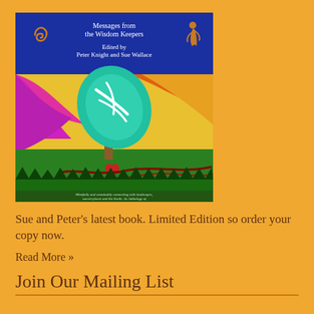[Figure (illustration): Book cover for 'Messages from the Wisdom Keepers', edited by Peter Knight and Sue Wallace. Blue header with spiral and kokopelli symbols and white title text. Center features a vivid folk-art painting of a tree with green and teal swirling leaves against a colorful sky. Bottom section is green with text: 'Mindfully and sustainably connecting with landscapes, sacred places and the Earth. An Anthology of insights, mostly written during the 2020 lockdown.' and small illustrations of natural objects (shell, lizard, shell, feather, stone, shell, seed).]
Sue and Peter's latest book. Limited Edition so order your copy now.
Read More »
Join Our Mailing List